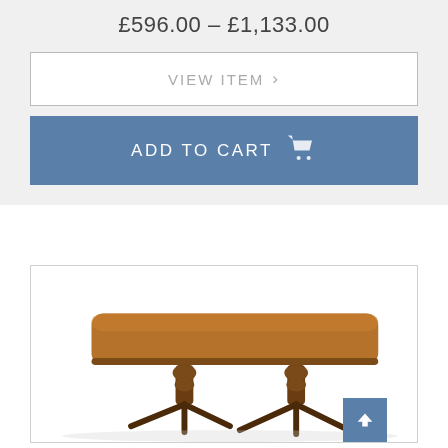£596.00 – £1,133.00
[Figure (screenshot): VIEW ITEM button with right chevron]
[Figure (screenshot): ADD TO CART button with cart icon]
[Figure (photo): Photo of a wooden dining table with two pedestal bases, shown on white background inside a bordered box]